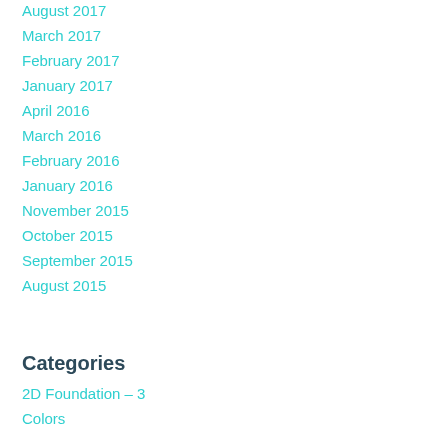August 2017
March 2017
February 2017
January 2017
April 2016
March 2016
February 2016
January 2016
November 2015
October 2015
September 2015
August 2015
Categories
2D Foundation – 3
Colors